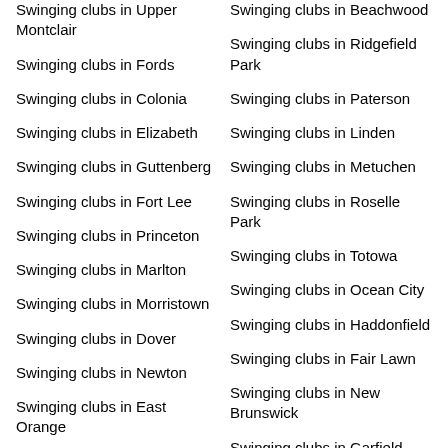Swinging clubs in Upper Montclair
Swinging clubs in Fords
Swinging clubs in Colonia
Swinging clubs in Elizabeth
Swinging clubs in Guttenberg
Swinging clubs in Fort Lee
Swinging clubs in Princeton
Swinging clubs in Marlton
Swinging clubs in Morristown
Swinging clubs in Dover
Swinging clubs in Newton
Swinging clubs in East Orange
Swinging clubs in Franklin Park
Swinging clubs in Beachwood
Swinging clubs in Ridgefield Park
Swinging clubs in Paterson
Swinging clubs in Linden
Swinging clubs in Metuchen
Swinging clubs in Roselle Park
Swinging clubs in Totowa
Swinging clubs in Ocean City
Swinging clubs in Haddonfield
Swinging clubs in Fair Lawn
Swinging clubs in New Brunswick
Swinging clubs in Garfield
Swinging clubs in Cherry Hill